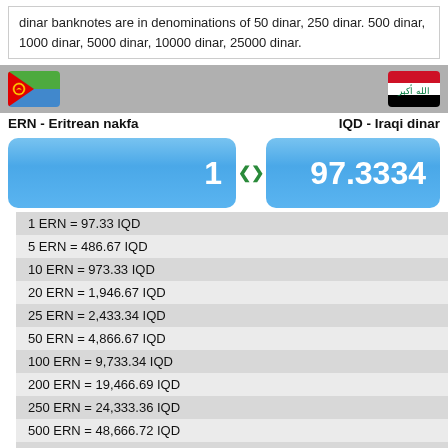dinar banknotes are in denominations of 50 dinar, 250 dinar. 500 dinar, 1000 dinar, 5000 dinar, 10000 dinar, 25000 dinar.
[Figure (infographic): Currency converter header with Eritrean nakfa (ERN) and Iraqi dinar (IQD) flags, exchange rate display showing 1 ERN = 97.3334 IQD, and conversion table]
| 1 ERN = 97.33 IQD |
| 5 ERN = 486.67 IQD |
| 10 ERN = 973.33 IQD |
| 20 ERN = 1,946.67 IQD |
| 25 ERN = 2,433.34 IQD |
| 50 ERN = 4,866.67 IQD |
| 100 ERN = 9,733.34 IQD |
| 200 ERN = 19,466.69 IQD |
| 250 ERN = 24,333.36 IQD |
| 500 ERN = 48,666.72 IQD |
| 1,000 ERN = 97,333.44 IQD |
| 2,000 ERN = 194,666.88 IQD |
| 2,500 ERN = 243,333.60 IQD |